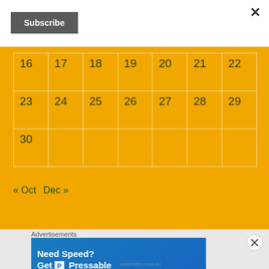×
Subscribe
| 16 | 17 | 18 | 19 | 20 | 21 | 22 |
| 23 | 24 | 25 | 26 | 27 | 28 | 29 |
| 30 |  |  |  |  |  |  |
« Oct   Dec »
Categories
Advertisements
[Figure (infographic): Blue advertisement banner reading 'Need Speed? Get P Pressable' with a person flying/running figure on the right side]